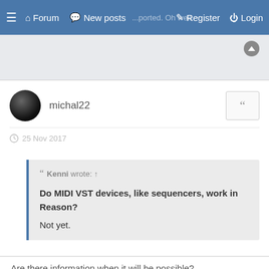≡  🏠 Forum  💬 New posts  [ghost text: ...ported. Oh well.]  ✎ Register  ⏻ Login
michal22
25 Nov 2017
Kenni wrote: ↑

Do MIDI VST devices, like sequencers, work in Reason?
Not yet.
Are there information when it will be possible?